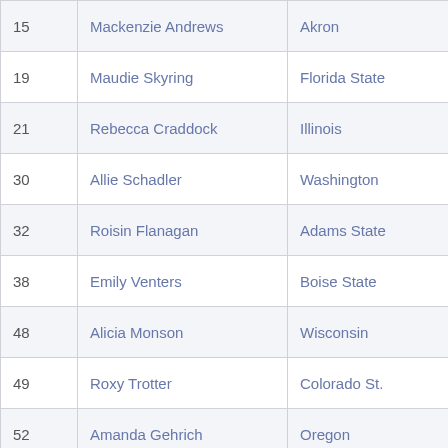| 15 | Mackenzie Andrews | Akron | 4:20.19 |
| 19 | Maudie Skyring | Florida State | 4:20.82 |
| 21 | Rebecca Craddock | Illinois | 4:21.04 |
| 30 | Allie Schadler | Washington | 4:22.45 |
| 32 | Roisin Flanagan | Adams State | 4:22.62 |
| 38 | Emily Venters | Boise State | 4:24.33 |
| 48 | Alicia Monson | Wisconsin | 4:25.58 |
| 49 | Roxy Trotter | Colorado St. | 4:25.64 |
| 52 | Amanda Gehrich | Oregon | 4:26.46 |
| 55 | Clare O'Brien | Boise State | 4:26.82 |
| 62 | Niamh Markham | Bradley | 4:28.05 |
| 68 | Jessica Parker | Marquette | 4:28.52 |
| 86 | Nicole Goecke | Oregon State | 4:30.78 |
| 88 | Danielle McSorrinly | Alaska Anch. | 4:31.88 |